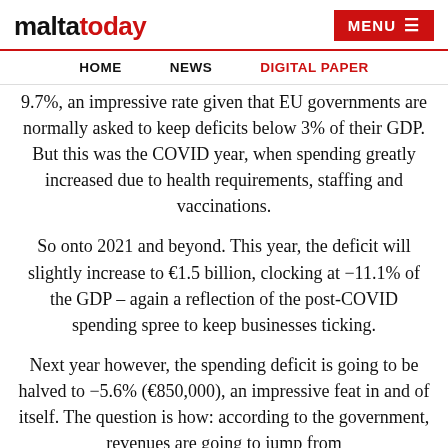maltatoday | MENU
HOME | NEWS | DIGITAL PAPER
9.7%, an impressive rate given that EU governments are normally asked to keep deficits below 3% of their GDP. But this was the COVID year, when spending greatly increased due to health requirements, staffing and vaccinations.
So onto 2021 and beyond. This year, the deficit will slightly increase to €1.5 billion, clocking at -11.1% of the GDP – again a reflection of the post-COVID spending spree to keep businesses ticking.
Next year however, the spending deficit is going to be halved to -5.6% (€850,000), an impressive feat in and of itself. The question is how: according to the government, revenues are going to jump from